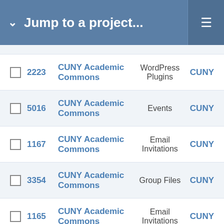Jump to a project...
2223 | CUNY Academic Commons | WordPress Plugins | CUNY
5016 | CUNY Academic Commons | Events | CUNY
1167 | CUNY Academic Commons | Email Invitations | CUNY
3354 | CUNY Academic Commons | Group Files | CUNY
1165 | CUNY Academic Commons | Email Invitations | CUNY
1166 | CUNY Academic Commons | Email | CUNY